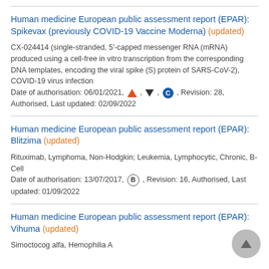Human medicine European public assessment report (EPAR): Spikevax (previously COVID-19 Vaccine Moderna) (updated)
CX-024414 (single-stranded, 5'-capped messenger RNA (mRNA) produced using a cell-free in vitro transcription from the corresponding DNA templates, encoding the viral spike (S) protein of SARS-CoV-2), COVID-19 virus infection
Date of authorisation: 06/01/2021, [triangle], [down-triangle], [C], Revision: 28, Authorised, Last updated: 02/09/2022
Human medicine European public assessment report (EPAR): Blitzima (updated)
Rituximab, Lymphoma, Non-Hodgkin; Leukemia, Lymphocytic, Chronic, B-Cell
Date of authorisation: 13/07/2017, [B], Revision: 16, Authorised, Last updated: 01/09/2022
Human medicine European public assessment report (EPAR): Vihuma (updated)
Simoctocog alfa, Hemophilia A